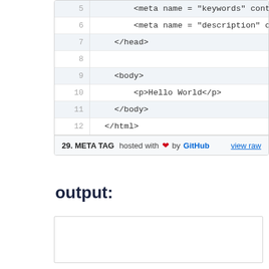[Figure (screenshot): Code block showing HTML source lines 5-12 with line numbers, alternating row backgrounds, and a footer showing '29. META TAG hosted with heart by GitHub' and 'view raw' link]
output:
Hello World